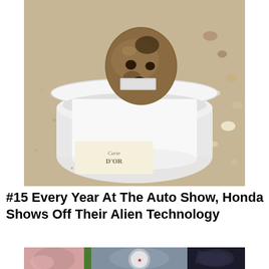[Figure (photo): A rock or stone shaped like a face with two holes resembling eyes and a hole for a mouth, sitting inside a clear plastic Carte D'Or ice cream container, placed on sandy beach with shells in the background.]
#15 Every Year At The Auto Show, Honda Shows Off Their Alien Technology
[Figure (photo): Bottom portion of a collage image showing parts of cars and a circular logo partially visible.]